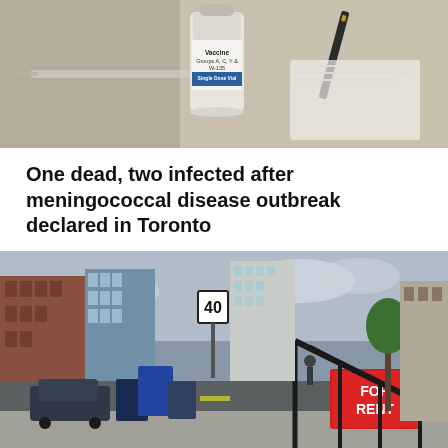[Figure (photo): Close-up photo of a vaccine vial labeled 'Vaccine Groups A, C, Y & W-135, Single Dose Vial' with a syringe and pen visible in background]
One dead, two infected after meningococcal disease outbreak declared in Toronto
[Figure (photo): Street-level photo in Toronto showing a sidewalk with a 'FOR RENT' sign on stair railing, garbage bins, apartment buildings, and a pedestrian walking in background]
Here's how much average rental prices were across the GTA in July